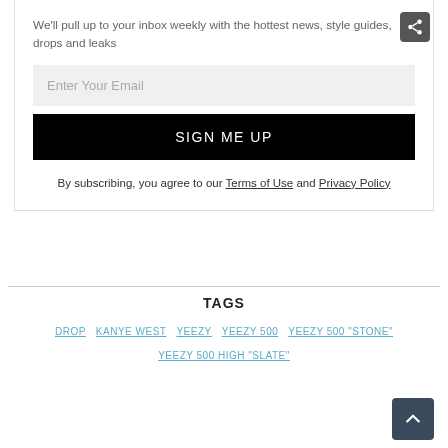Two new Yeezy 500 Sneakers have been revealed.
We'll pull up to your inbox weekly with the hottest news, style guides, drops and leaks
Enter Your Email
SIGN ME UP
By subscribing, you agree to our Terms of Use and Privacy Policy
TAGS
DROP
KANYE WEST
YEEZY
YEEZY 500
YEEZY 500 "STONE"
YEEZY 500 HIGH "SLATE"